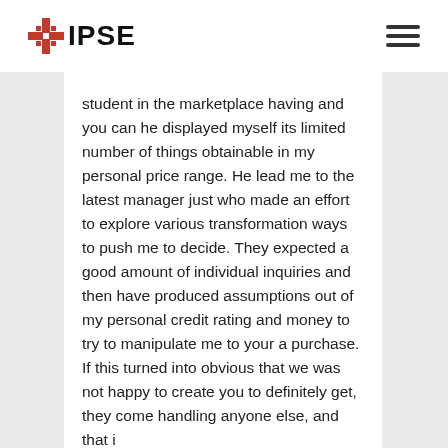IPSE
student in the marketplace having and you can he displayed myself its limited number of things obtainable in my personal price range. He lead me to the latest manager just who made an effort to explore various transformation ways to push me to decide. They expected a good amount of individual inquiries and then have produced assumptions out of my personal credit rating and money to try to manipulate me to your a purchase. If this turned into obvious that we was not happy to create you to definitely get, they come handling anyone else, and that i